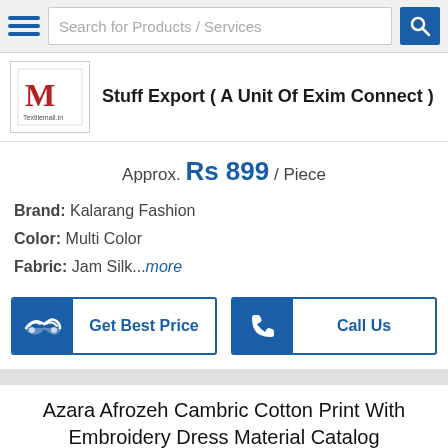Search for Products / Services
Stuff Export ( A Unit Of Exim Connect )
Approx. Rs 899 / Piece
Brand: Kalarang Fashion
Color: Multi Color
Fabric: Jam Silk...more
[Figure (screenshot): Get Best Price and Call Us buttons]
Azara Afrozeh Cambric Cotton Print With Embroidery Dress Material Catalog
[Figure (photo): Product image area with main large image placeholder and thumbnail column on right]